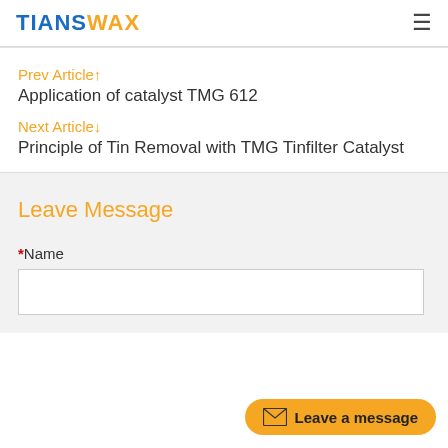TIANSWAX
Prev Article↑
Application of catalyst TMG 612
Next Article↓
Principle of Tin Removal with TMG Tinfilter Catalyst
Leave Message
*Name